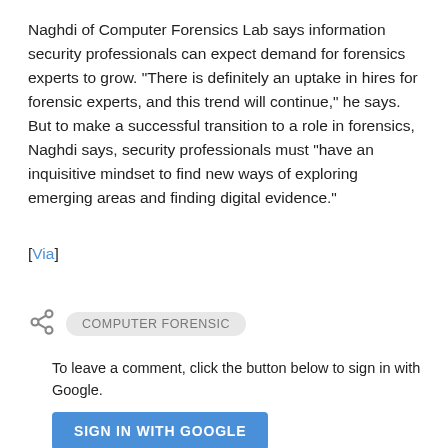Naghdi of Computer Forensics Lab says information security professionals can expect demand for forensics experts to grow. "There is definitely an uptake in hires for forensic experts, and this trend will continue," he says. But to make a successful transition to a role in forensics, Naghdi says, security professionals must "have an inquisitive mindset to find new ways of exploring emerging areas and finding digital evidence."
[Via]
COMPUTER FORENSIC
To leave a comment, click the button below to sign in with Google.
SIGN IN WITH GOOGLE